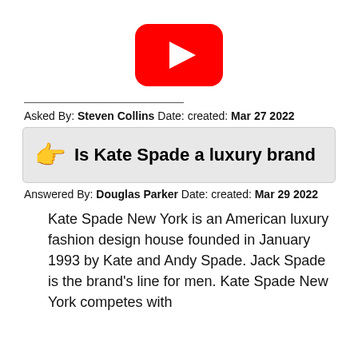[Figure (logo): YouTube play button logo icon — red rounded rectangle with white triangle play arrow]
Asked By: Steven Collins Date: created: Mar 27 2022
Is Kate Spade a luxury brand
Answered By: Douglas Parker Date: created: Mar 29 2022
Kate Spade New York is an American luxury fashion design house founded in January 1993 by Kate and Andy Spade. Jack Spade is the brand's line for men. Kate Spade New York competes with